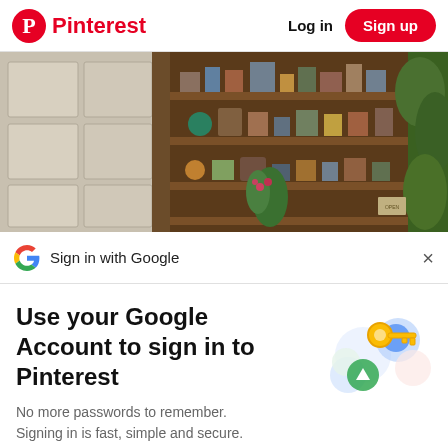Pinterest  Log in  Sign up
[Figure (photo): Interior photo showing wooden bookshelves with decorative items, a plant with pink flowers, and a white paneled wall/door on the left side]
Sign in with Google
Use your Google Account to sign in to Pinterest
No more passwords to remember. Signing in is fast, simple and secure.
[Figure (illustration): Google key illustration with colorful circles and a golden key icon]
Continue